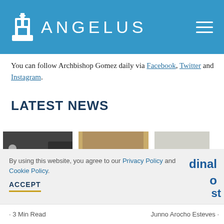[Figure (logo): Angelus News website header with white church/bell tower icon and ANGELUS text in white on blue background, with hamburger menu icon on right]
You can follow Archbishop Gomez daily via Facebook, Twitter and Instagram.
LATEST NEWS
[Figure (photo): Three news article thumbnail photos side by side: left shows people in a room/hallway, center shows group gathering in ornate hall, right shows robed figures with wheelchair]
By using this website, you agree to our Privacy Policy and Cookie Policy.
ACCEPT
dinal o
st
· 3 Min Read
Junno Arocho Esteves ·